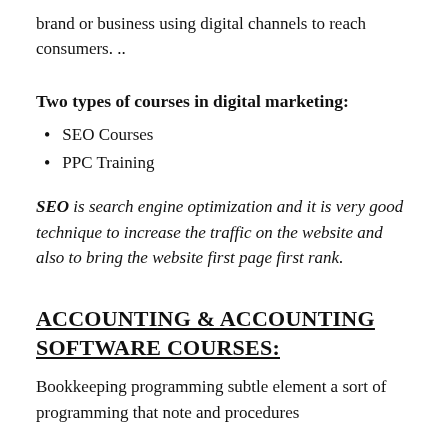brand or business using digital channels to reach consumers. ..
Two types of courses in digital marketing:
SEO Courses
PPC Training
SEO is search engine optimization and it is very good technique to increase the traffic on the website and also to bring the website first page first rank.
ACCOUNTING & ACCOUNTING SOFTWARE COURSES:
Bookkeeping programming subtle element a sort of programming that note and procedures